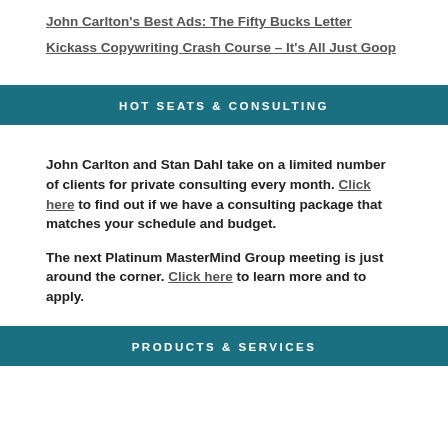John Carlton's Best Ads: The Fifty Bucks Letter
Kickass Copywriting Crash Course – It's All Just Goop
HOT SEATS & CONSULTING
John Carlton and Stan Dahl take on a limited number of clients for private consulting every month. Click here to find out if we have a consulting package that matches your schedule and budget.
The next Platinum MasterMind Group meeting is just around the corner. Click here to learn more and to apply.
PRODUCTS & SERVICES